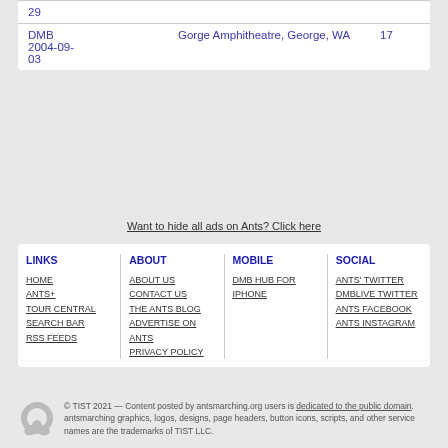|  |  |  |
| --- | --- | --- |
| 29 |  |  |
| DMB
2004-09-03 | Gorge Amphitheatre, George, WA | 17 |
Want to hide all ads on Ants? Click here
| LINKS | ABOUT | MOBILE | SOCIAL |
| --- | --- | --- | --- |
| HOME | ABOUT US | DMB HUB FOR IPHONE | ANTS' TWITTER |
| ANTS+ | CONTACT US |  | DMBLIVE TWITTER |
| TOUR CENTRAL | THE ANTS BLOG |  | ANTS FACEBOOK |
| SEARCH BAR | ADVERTISE ON ANTS |  | ANTS INSTAGRAM |
| RSS FEEDS | PRIVACY POLICY |  |  |
© TIST 2021 — Content posted by antsmarching.org users is dedicated to the public domain. antsmarching graphics, logos, designs, page headers, button icons, scripts, and other service names are the trademarks of TIST LLC.